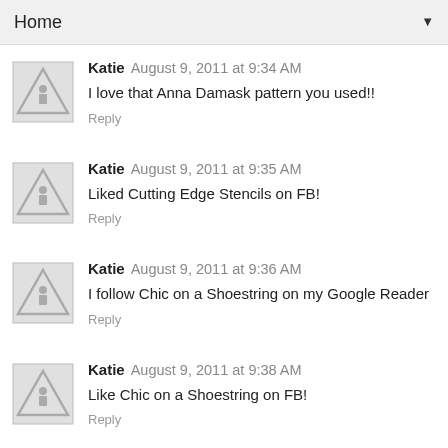Home
Katie  August 9, 2011 at 9:34 AM
I love that Anna Damask pattern you used!!
Reply
Katie  August 9, 2011 at 9:35 AM
Liked Cutting Edge Stencils on FB!
Reply
Katie  August 9, 2011 at 9:36 AM
I follow Chic on a Shoestring on my Google Reader
Reply
Katie  August 9, 2011 at 9:38 AM
Like Chic on a Shoestring on FB!
Reply